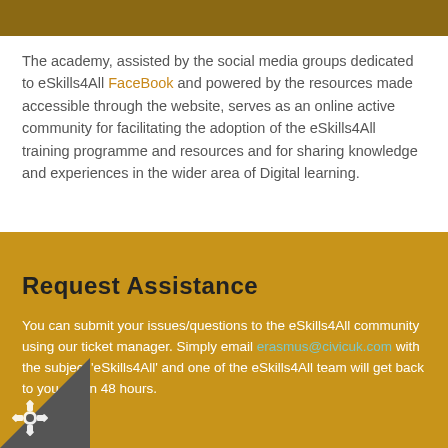The academy, assisted by the social media groups dedicated to eSkills4All FaceBook and powered by the resources made accessible through the website, serves as an online active community for facilitating the adoption of the eSkills4All training programme and resources and for sharing knowledge and experiences in the wider area of Digital learning.
Request Assistance
You can submit your issues/questions to the eSkills4All community using our ticket manager. Simply email erasmus@civicuk.com with the subject 'eSkills4All' and one of the eSkills4All team will get back to you within 48 hours.